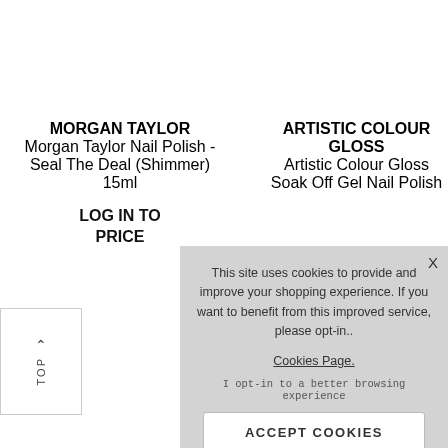MORGAN TAYLOR
Morgan Taylor Nail Polish - Seal The Deal (Shimmer) 15ml
LOG IN TO PRICE
ARTISTIC COLOUR GLOSS
Artistic Colour Gloss Soak Off Gel Nail Polish
TOP
This site uses cookies to provide and improve your shopping experience. If you want to benefit from this improved service, please opt-in..
Cookies Page.
I opt-in to a better browsing experience
ACCEPT COOKIES